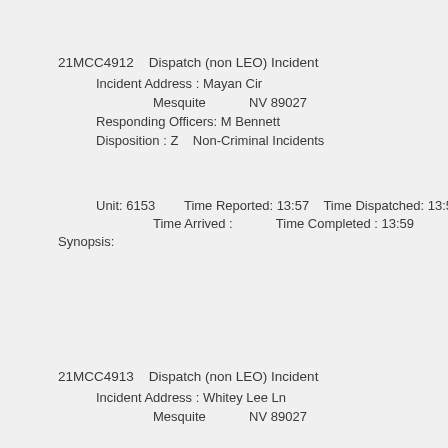21MCC4912    Dispatch (non LEO) Incident
Incident Address : Mayan Cir
Mesquite            NV 89027
Responding Officers: M Bennett
Disposition : Z    Non-Criminal Incidents
Unit: 6153        Time Reported: 13:57    Time Dispatched: 13:59
Time Arrived :            Time Completed : 13:59
Synopsis:
21MCC4913    Dispatch (non LEO) Incident
Incident Address : Whitey Lee Ln
Mesquite            NV 89027